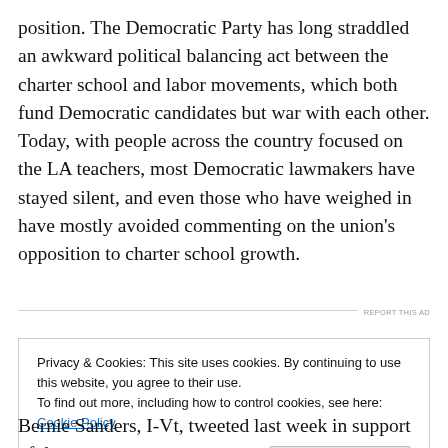position. The Democratic Party has long straddled an awkward political balancing act between the charter school and labor movements, which both fund Democratic candidates but war with each other. Today, with people across the country focused on the LA teachers, most Democratic lawmakers have stayed silent, and even those who have weighed in have mostly avoided commenting on the union's opposition to charter school growth.
REPORT THIS AD
Privacy & Cookies: This site uses cookies. By continuing to use this website, you agree to their use. To find out more, including how to control cookies, see here: Cookie Policy
Bernie Sanders, I-Vt, tweeted last week in support of the